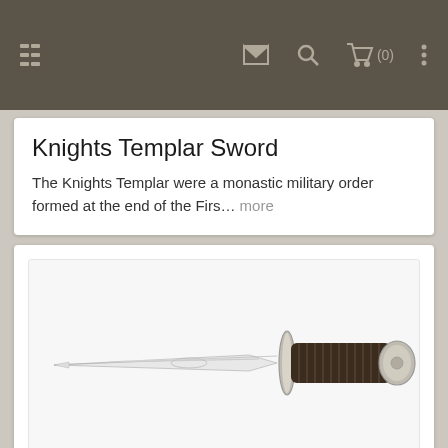Navigation bar with menu, envelope, search, cart (0), and more icons
Knights Templar Sword
The Knights Templar were a monastic military order formed at the end of the Firs... more
[Figure (photo): Product image of the Sting Sword of Frodo — a slender double-edged dagger with an ornate crossguard and dark wrapped handle, shown at a slight diagonal angle on a white background]
Sting Sword of Frodo